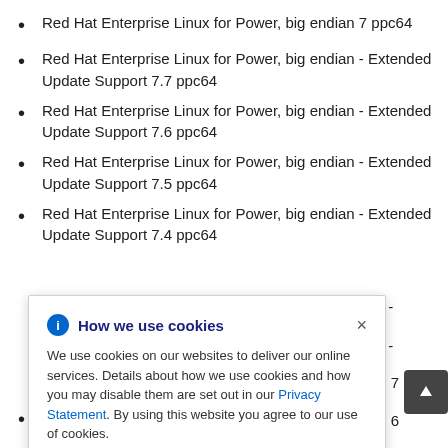Red Hat Enterprise Linux for Power, big endian 7 ppc64
Red Hat Enterprise Linux for Power, big endian - Extended Update Support 7.7 ppc64
Red Hat Enterprise Linux for Power, big endian - Extended Update Support 7.6 ppc64
Red Hat Enterprise Linux for Power, big endian - Extended Update Support 7.5 ppc64
Red Hat Enterprise Linux for Power, big endian - Extended Update Support 7.4 ppc64
How we use cookies
We use cookies on our websites to deliver our online services. Details about how we use cookies and how you may disable them are set out in our Privacy Statement. By using this website you agree to our use of cookies.
Red Hat Enterprise Linux Server from RHUI 7